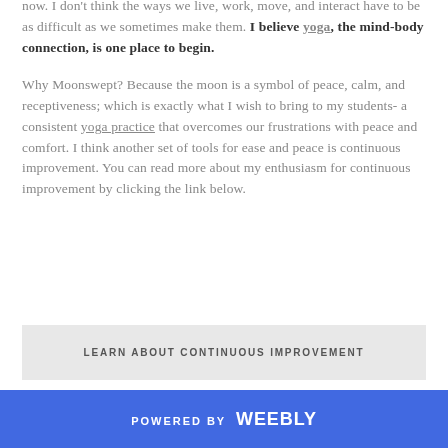now. I don't think the ways we live, work, move, and interact have to be as difficult as we sometimes make them. I believe yoga, the mind-body connection, is one place to begin.
Why Moonswept? Because the moon is a symbol of peace, calm, and receptiveness; which is exactly what I wish to bring to my students- a consistent yoga practice that overcomes our frustrations with peace and comfort. I think another set of tools for ease and peace is continuous improvement. You can read more about my enthusiasm for continuous improvement by clicking the link below.
LEARN ABOUT CONTINUOUS IMPROVEMENT
POWERED BY weebly